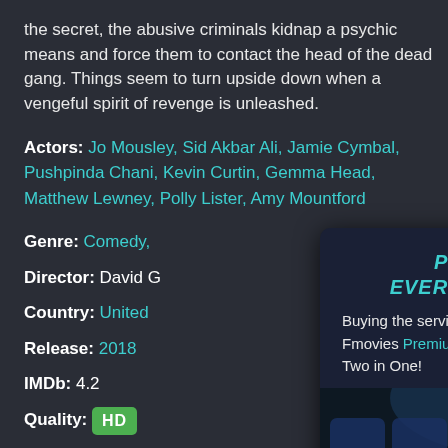the secret, the abusive criminals kidnap a psychic means and force them to contact the head of the dead gang. Things seem to turn upside down when a vengeful spirit of revenge is unleashed.
Actors: Jo Mousley, Sid Akbar Ali, Jamie Cymbal, Pushpinda Chani, Kevin Curtin, Gemma Head, Matthew Lewney, Polly Lister, Amy Mountford
Genre: Comedy,
Director: David G
Country: United
Release: 2018
IMDb: 4.2
Quality: HD
Duration: 86 min
[Figure (screenshot): Premium Movies popup advertisement over a movie streaming page. Shows 'PREMIUM MOVIES EVERYONE SHOULD JOIN!' in teal, text about Fmovies Premium Membership, and a cinema background image with a teal scroll-up button.]